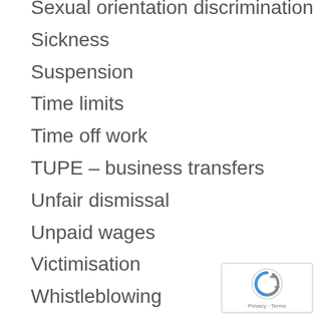Sexual orientation discrimination
Sickness
Suspension
Time limits
Time off work
TUPE – business transfers
Unfair dismissal
Unpaid wages
Victimisation
Whistleblowing
Work related stress